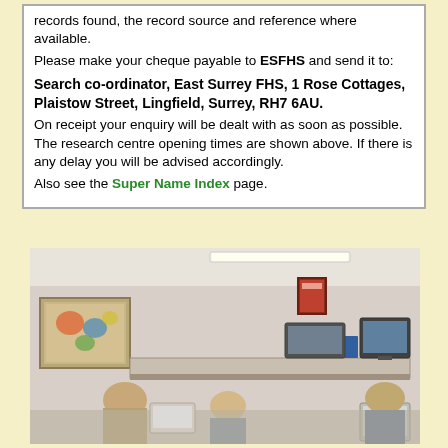records found, the record source and reference where available.
Please make your cheque payable to ESFHS and send it to:
Search co-ordinator, East Surrey FHS, 1 Rose Cottages, Plaistow Street, Lingfield, Surrey, RH7 6AU.
On receipt your enquiry will be dealt with as soon as possible. The research centre opening times are shown above. If there is any delay you will be advised accordingly.
Also see the Super Name Index page.
[Figure (photo): Interior of a research centre with people sitting at desks using computers and equipment. A painting is visible on the left wall. The room has fluorescent lighting and a counter area.]